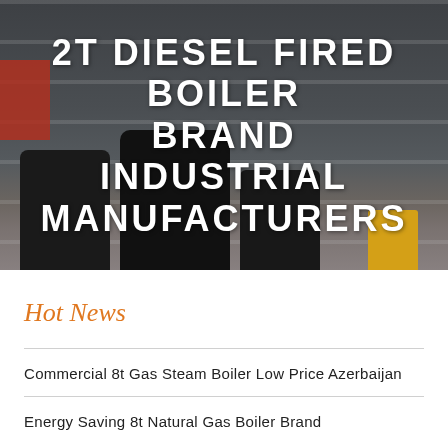[Figure (photo): Industrial factory interior showing large boilers and equipment on a factory floor, with ceiling girders visible. Overlaid with large white uppercase text.]
2T DIESEL FIRED BOILER BRAND INDUSTRIAL MANUFACTURERS
Hot News
Commercial 8t Gas Steam Boiler Low Price Azerbaijan
Energy Saving 8t Natural Gas Boiler Brand